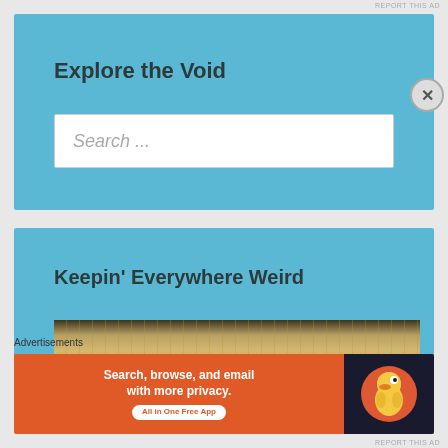REPORT THIS AD
Explore the Void
Search ...
Keepin' Everywhere Weird
[Figure (photo): Close-up photograph of gold metallic rings or bangles, store display background]
Advertisements
[Figure (infographic): DuckDuckGo advertisement banner: Search, browse, and email with more privacy. All in One Free App. Orange background with DuckDuckGo duck logo on dark right side.]
REPORT THIS AD